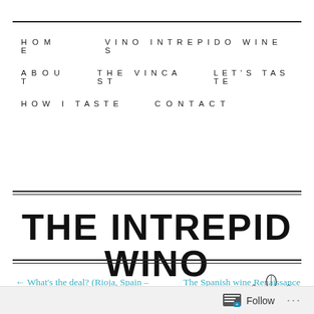HOME   VINO INTREPIDO WINES   ABOUT   THE VINCAST   LET'S TASTE   HOW I TASTE   CONTACT
THE INTREPID WINO
← What's the deal? (Rioja, Spain – Day Three)
The Spanish wine Renaissance (Navarra, Spain) →
[Figure (logo): The Intrepid Wino logo with two crossed telescopes and text 'JAMES SCARCEBROOK EYE']
JUNE 16, 2012 · 11:49 PM
Follow ...